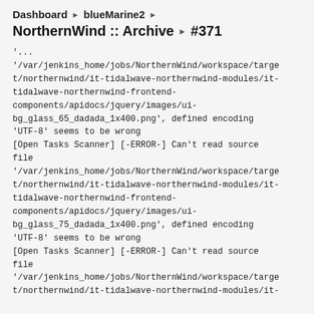Dashboard ▶ blueMarine2 ▶
NorthernWind :: Archive ▶ #371
'...
'/var/jenkins_home/jobs/NorthernWind/workspace/target/northernwind/it-tidalwave-northernwind-modules/it-tidalwave-northernwind-frontend-components/apidocs/jquery/images/ui-bg_glass_65_dadada_1x400.png', defined encoding 'UTF-8' seems to be wrong
[Open Tasks Scanner] [-ERROR-] Can't read source file
'/var/jenkins_home/jobs/NorthernWind/workspace/target/northernwind/it-tidalwave-northernwind-modules/it-tidalwave-northernwind-frontend-components/apidocs/jquery/images/ui-bg_glass_75_dadada_1x400.png', defined encoding 'UTF-8' seems to be wrong
[Open Tasks Scanner] [-ERROR-] Can't read source file
'/var/jenkins_home/jobs/NorthernWind/workspace/target/northernwind/it-tidalwave-northernwind-modules/it-